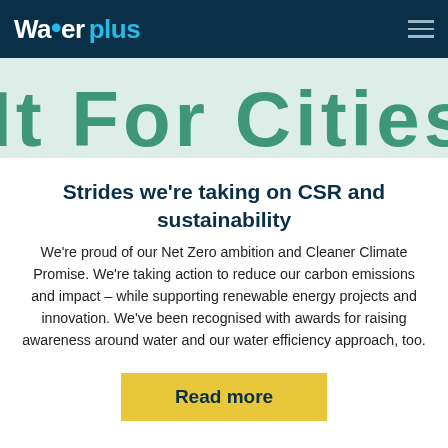Water plus
[Figure (illustration): Partial banner image showing large green text on a light background, cropped — appears to say something like 'IT FOR CITIES' or similar text, only partially visible]
Strides we're taking on CSR and sustainability
We're proud of our Net Zero ambition and Cleaner Climate Promise. We're taking action to reduce our carbon emissions and impact – while supporting renewable energy projects and innovation. We've been recognised with awards for raising awareness around water and our water efficiency approach, too.
Read more